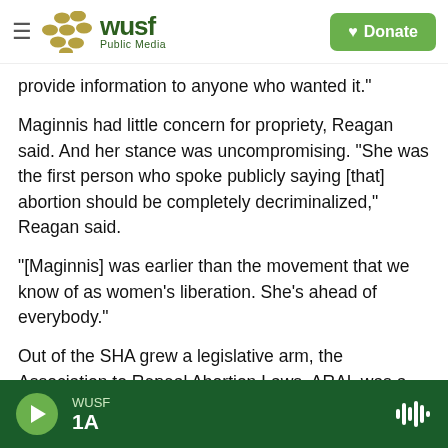[Figure (logo): WUSF Public Media logo with hamburger menu and Donate button]
provide information to anyone who wanted it."
Maginnis had little concern for propriety, Reagan said. And her stance was uncompromising. "She was the first person who spoke publicly saying [that] abortion should be completely decriminalized," Reagan said.
"[Maginnis] was earlier than the movement that we know of as women's liberation. She's ahead of everybody."
Out of the SHA grew a legislative arm, the Association to Repeal Abortion Laws. ARAL was a
WUSF  1A